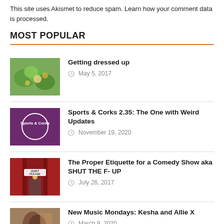This site uses Akismet to reduce spam. Learn how your comment data is processed.
MOST POPULAR
Getting dressed up · May 5, 2017
Sports & Corks 2.35: The One with Weird Updates · November 19, 2020
The Proper Etiquette for a Comedy Show aka SHUT THE F- UP · July 26, 2017
New Music Mondays: Kesha and Allie X · March 9, 2020